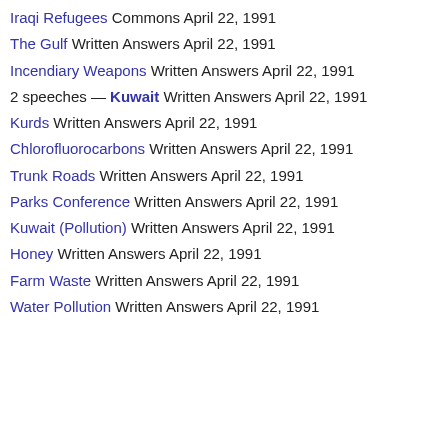Iraqi Refugees Commons April 22, 1991
The Gulf Written Answers April 22, 1991
Incendiary Weapons Written Answers April 22, 1991
2 speeches — Kuwait Written Answers April 22, 1991
Kurds Written Answers April 22, 1991
Chlorofluorocarbons Written Answers April 22, 1991
Trunk Roads Written Answers April 22, 1991
Parks Conference Written Answers April 22, 1991
Kuwait (Pollution) Written Answers April 22, 1991
Honey Written Answers April 22, 1991
Farm Waste Written Answers April 22, 1991
Water Pollution Written Answers April 22, 1991